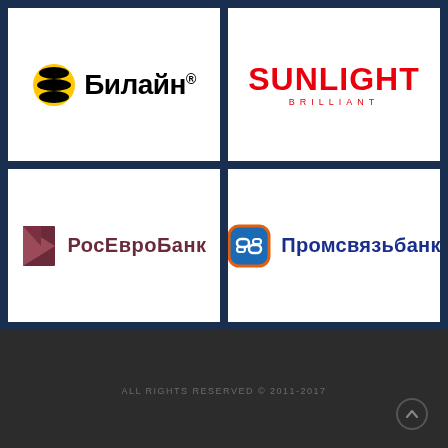[Figure (logo): Beeline logo: yellow-black striped bee icon with text 'Билайн' in bold black Cyrillic]
[Figure (logo): Sunlight Brilliant logo: red bold text 'SUNLIGHT' with 'BRILLIANT' in red small caps below]
[Figure (logo): РосЕвроБанк logo: dark maroon geometric triangle icon with 'РосЕвроБанк' in maroon text]
[Figure (logo): Промсвязьбанк logo: blue-orange rounded square icon with chain/link symbol and 'Промсвязьбанк' in dark blue text]
ALL RIGHTS RESERVED © 2011-2017